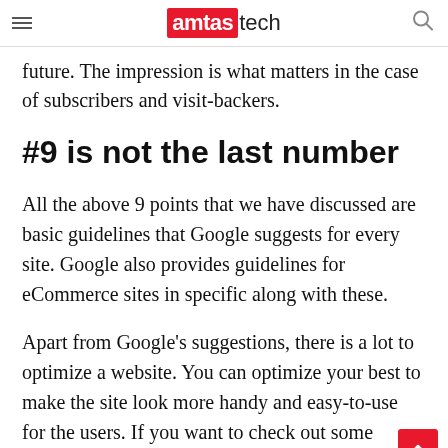amtas tech
future. The impression is what matters in the case of subscribers and visit-backers.
#9 is not the last number
All the above 9 points that we have discussed are basic guidelines that Google suggests for every site. Google also provides guidelines for eCommerce sites in specific along with these.
Apart from Google’s suggestions, there is a lot to optimize a website. You can optimize your best to make the site look more handy and easy-to-use for the users. If you want to check out some coding